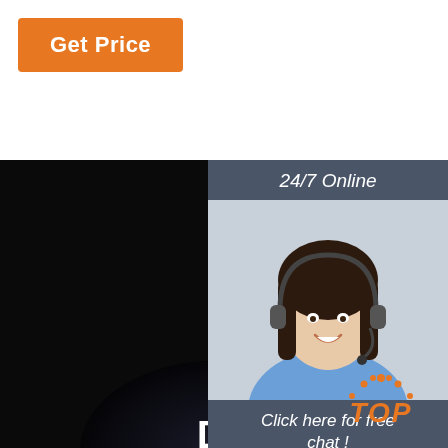Get Price
[Figure (photo): Dark background image showing a road or landscape at night with low lighting, serving as the main background of the page]
TRANSPARENT DISCOLORATION RUN
[Figure (photo): Customer service agent: a smiling woman wearing a headset on a gray/dark panel, with '24/7 Online' label above and 'Click here for free chat!' and 'QUOTATION' button below]
[Figure (logo): TOP logo in orange with decorative arc above the text]